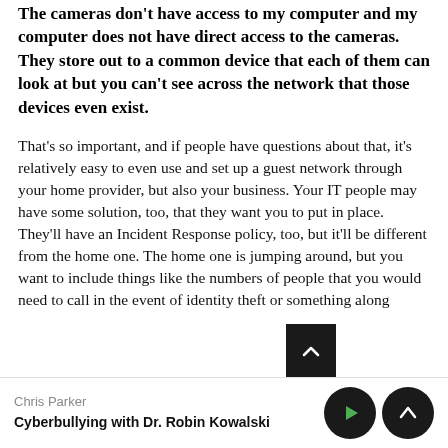The cameras don't have access to my computer and my computer does not have direct access to the cameras. They store out to a common device that each of them can look at but you can't see across the network that those devices even exist.
That's so important, and if people have questions about that, it's relatively easy to even use and set up a guest network through your home provider, but also your business. Your IT people may have some solution, too, that they want you to put in place. They'll have an Incident Response policy, too, but it'll be different from the home one. The home one is jumping around, but you want to include things like the numbers of people that you would need to call in the event of identity theft or something along
Chris Parker
Cyberbullying with Dr. Robin Kowalski